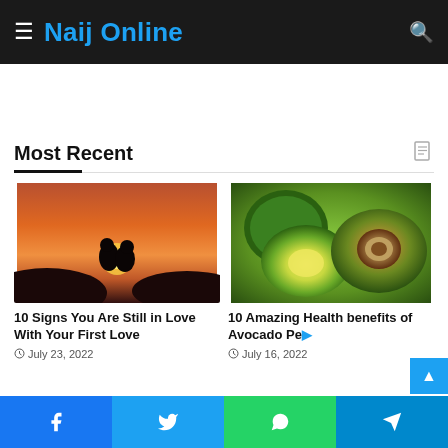Naij Online
Most Recent
[Figure (photo): Silhouette of a couple facing each other against an orange sunset sky]
10 Signs You Are Still in Love With Your First Love
July 23, 2022
[Figure (photo): Close-up of avocados, one halved showing the pit and yellow-green flesh]
10 Amazing Health benefits of Avocado Pe...
July 16, 2022